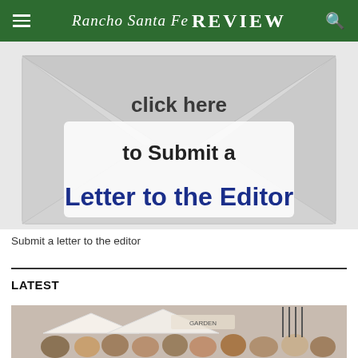Rancho Santa Fe REVIEW
[Figure (illustration): Envelope graphic with text 'Click here to Submit a Letter to the Editor']
Submit a letter to the editor
LATEST
[Figure (photo): Outdoor crowd of people at a garden event, with white tents and a 'Garden' sign in the background]